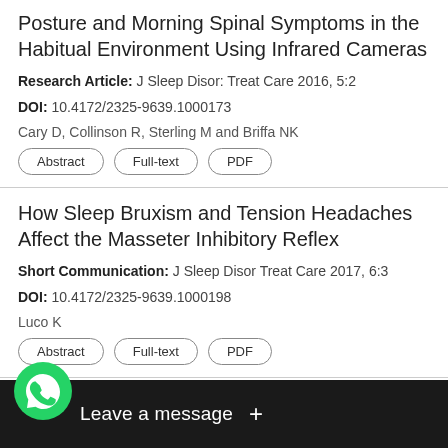Posture and Morning Spinal Symptoms in the Habitual Environment Using Infrared Cameras
Research Article: J Sleep Disor: Treat Care 2016, 5:2
DOI: 10.4172/2325-9639.1000173
Cary D, Collinson R, Sterling M and Briffa NK
Abstract | Full-text | PDF
How Sleep Bruxism and Tension Headaches Affect the Masseter Inhibitory Reflex
Short Communication: J Sleep Disor Treat Care 2017, 6:3
DOI: 10.4172/2325-9639.1000198
Luco K
Abstract | Full-text | PDF
Opioid Induced Sleep Disordered Breathing in Sickle Cell Patient
Report: J Sleep Disor: Treat Care 2012, 1:1
Ma N, Jacqueline Judy, Peter C Boet